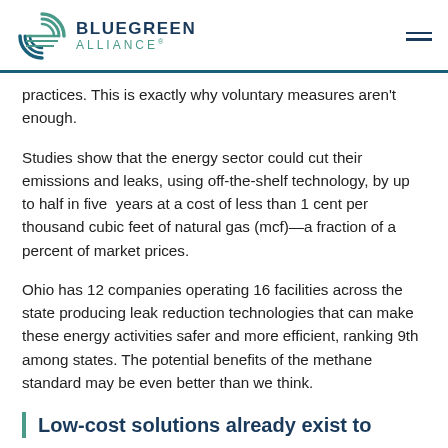BLUEGREEN ALLIANCE®
practices. This is exactly why voluntary measures aren't enough.
Studies show that the energy sector could cut their emissions and leaks, using off-the-shelf technology, by up to half in five years at a cost of less than 1 cent per thousand cubic feet of natural gas (mcf)—a fraction of a percent of market prices.
Ohio has 12 companies operating 16 facilities across the state producing leak reduction technologies that can make these energy activities safer and more efficient, ranking 9th among states. The potential benefits of the methane standard may be even better than we think.
Low-cost solutions already exist to